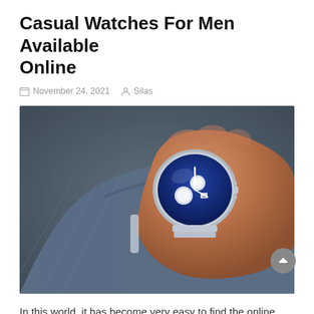Casual Watches For Men Available Online
November 24, 2021   Silas
[Figure (photo): Close-up photo of a man's wrist wearing a blue-dial silver chronograph watch with a metal bracelet, wearing a denim jacket, white sneakers visible on the ground below.]
In this world, it has become very easy to find the online existence of all products and services. Similarly, finding